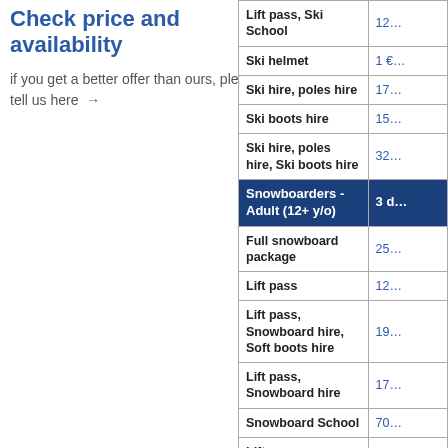Check price and availability
if you get a better offer than ours, please tell us here →
| Item | Price |
| --- | --- |
| Lift pass, Ski School | 12… |
| Ski helmet | 1 €… |
| Ski hire, poles hire | 17… |
| Ski boots hire | 15… |
| Ski hire, poles hire, Ski boots hire | 32… |
| Snowboarders - Adult (12+ y/o) | 3 d… |
| Full snowboard package | 25… |
| Lift pass | 12… |
| Lift pass, Snowboard hire, Soft boots hire | 19… |
| Lift pass, Snowboard hire | 17… |
| Snowboard School | 70… |
| Lift pass, Snowboard School | 22… |
| Snowboard helmet | 7 €… |